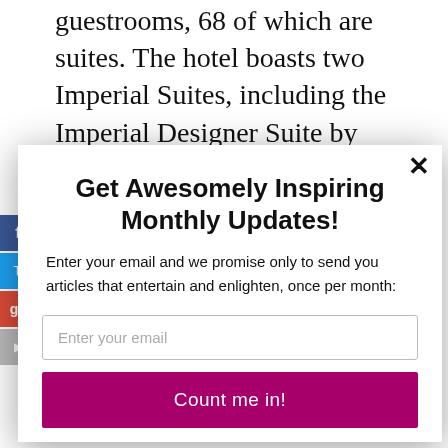guestrooms, 68 of which are suites. The hotel boasts two Imperial Suites, including the Imperial Designer Suite by renowned fashion designer Badgely Mischka and four Royal Poinciana Suites. I had an ocean view suite, which all...
Get Awesomely Inspiring Monthly Updates!
Enter your email and we promise only to send you articles that entertain and enlighten, once per month:
Enter your email
Count me in!